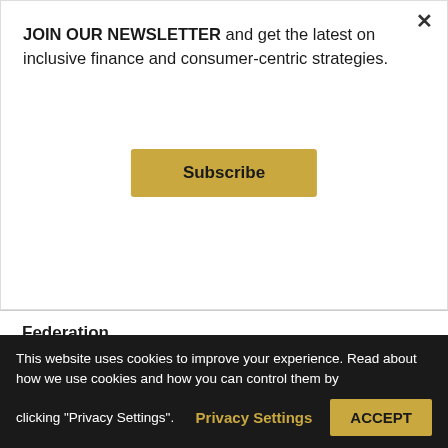JOIN OUR NEWSLETTER and get the latest on inclusive finance and consumer-centric strategies.
Subscribe
Federation
READ MORE
by Viktoria Wittlinger de Lima
This website uses cookies to improve your experience. Read about how we use cookies and how you can control them by clicking "Privacy Settings".
Privacy Settings
ACCEPT